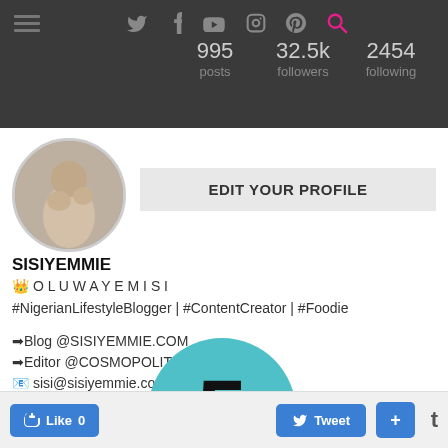995 posts  32.5k followers  2454 following
[Figure (screenshot): Instagram profile page for SISIYEMMIE showing avatar, stats (995 posts, 32.5k followers, 2454 following), Edit Your Profile button, bio text, and a teal circle with number 5 overlay]
SISIYEMMIE
👑 O L U W A Y E M I S I
#NigerianLifestyleBlogger | #ContentCreator | #Foodie
➡Blog @SISIYEMMIE.COM
➡Editor @COSMOPOLITAN_NG
📧 sisi@sisiyemmie.com 🐙
www.sisiyemmie.co
Like 0   Tweet   +   t